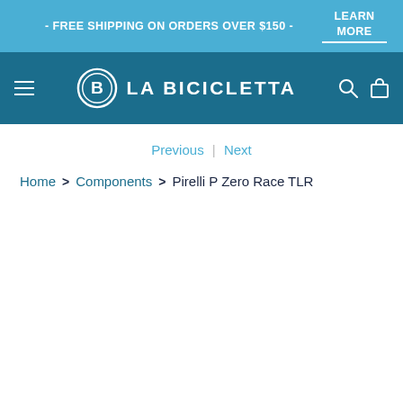- FREE SHIPPING ON ORDERS OVER $150 -
LEARN MORE
[Figure (logo): La Bicicletta logo with circular B icon and navigation bar]
Previous | Next
Home > Components > Pirelli P Zero Race TLR